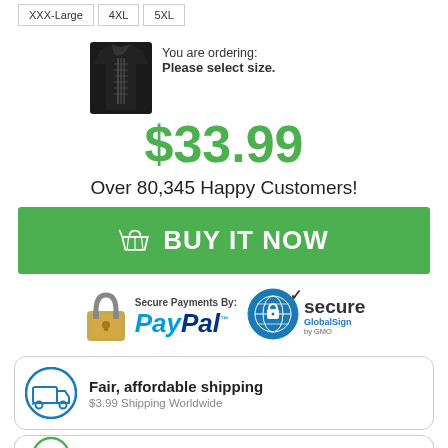| Size options |
| --- |
| XXX-Large | 4XL | 5XL |
You are ordering: Please select size.
$33.99
Over 80,345 Happy Customers!
BUY IT NOW
[Figure (logo): Secure Payments By: PayPal logo with padlock and GlobalSign secure badge]
Fair, affordable shipping
$3.99 Shipping Worldwide
Need Help? Sign up...